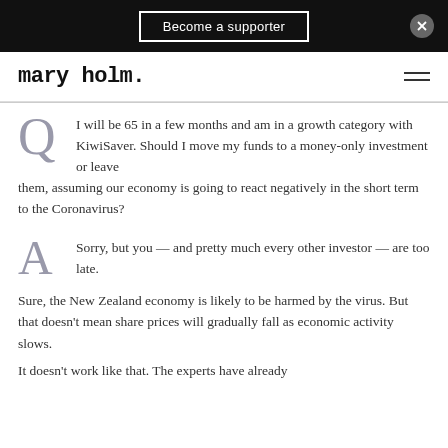Become a supporter
mary holm.
I will be 65 in a few months and am in a growth category with KiwiSaver. Should I move my funds to a money-only investment or leave them, assuming our economy is going to react negatively in the short term to the Coronavirus?
Sorry, but you — and pretty much every other investor — are too late.
Sure, the New Zealand economy is likely to be harmed by the virus. But that doesn't mean share prices will gradually fall as economic activity slows.
It doesn't work like that. The experts have already